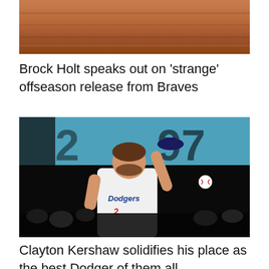[Figure (photo): Top portion of an image, showing a brown/wood-toned surface — likely the upper portion of a cropped sports photo]
Brock Holt speaks out on ‘strange’ offseason release from Braves
[Figure (photo): Clayton Kershaw in a white Los Angeles Dodgers uniform tipping his cap to the crowd, with a large scoreboard visible in the background showing numbers 97]
Clayton Kershaw solidifies his place as the best Dodger of them all...